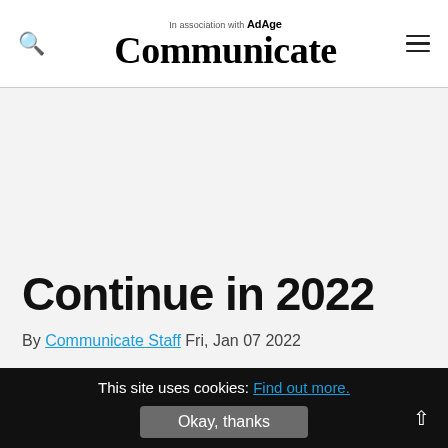In association with AdAge — Communicate
Continue in 2022
By Communicate Staff   Fri, Jan 07 2022
This site uses cookies: Find out more. Okay, thanks